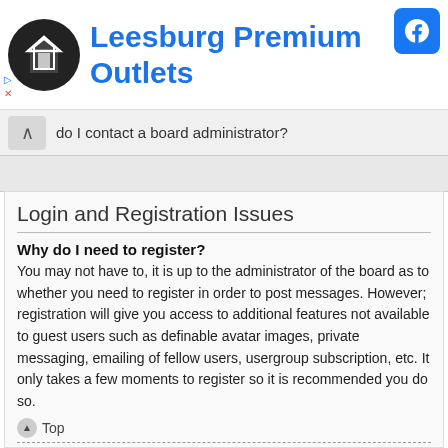[Figure (logo): Leesburg Premium Outlets advertisement banner with circular logo icon, title text in blue, and Facebook icon in top right]
do I contact a board administrator?
Login and Registration Issues
Why do I need to register?
You may not have to, it is up to the administrator of the board as to whether you need to register in order to post messages. However; registration will give you access to additional features not available to guest users such as definable avatar images, private messaging, emailing of fellow users, usergroup subscription, etc. It only takes a few moments to register so it is recommended you do so.
Top
What is COPPA?
COPPA, or the Children's Online Privacy Protection Act of 1998, is a law in the United States requiring websites which can potentially collect information from minors under the age of 13 to have written parental consent or some other method of legal guardian acknowledgment, allowing the collection of personally identifiable